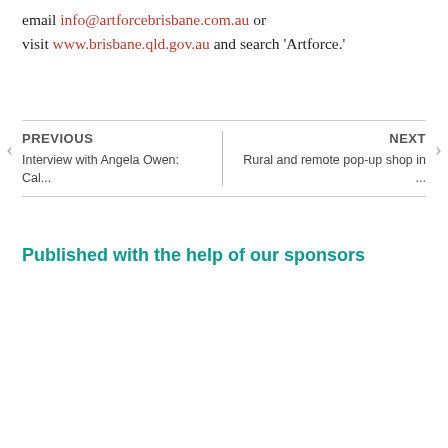email info@artforcebrisbane.com.au or visit www.brisbane.qld.gov.au and search 'Artforce.'
PREVIOUS - Interview with Angela Owen: Cal... | NEXT - Rural and remote pop-up shop in ...
Published with the help of our sponsors